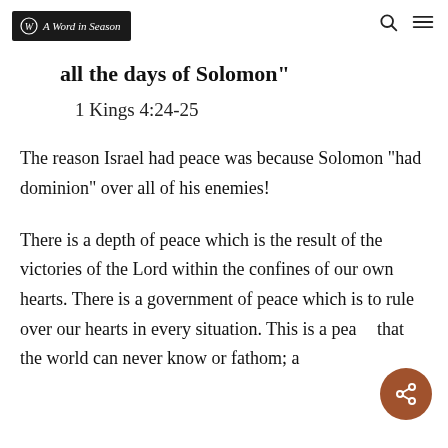A Word in Season
all the days of Solomon
1 Kings 4:24-25
The reason Israel had peace was because Solomon “had dominion” over all of his enemies!
There is a depth of peace which is the result of the victories of the Lord within the confines of our own hearts. There is a government of peace which is to rule over our hearts in every situation. This is a peace that the world can never know or fathom; a